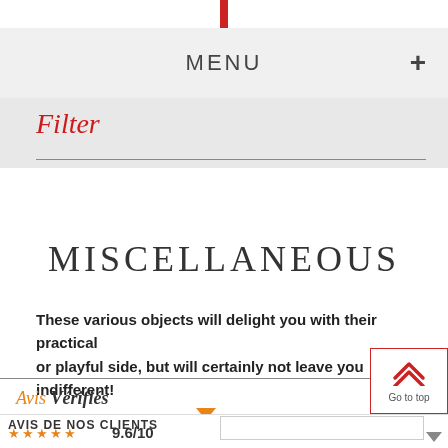MENU +
Filter
MISCELLANEOUS
These various objects will delight you with their practical or playful side, but will certainly not leave you indifferent!
[Figure (other): Go to top button with double up-arrow chevrons and 'Go to top' label]
[Figure (logo): Avis Vérifiés logo - Avis in orange italic, Vérifiés in bold dark]
AVIS DE NOS CLIENTS ★★★★★ 9.6/10